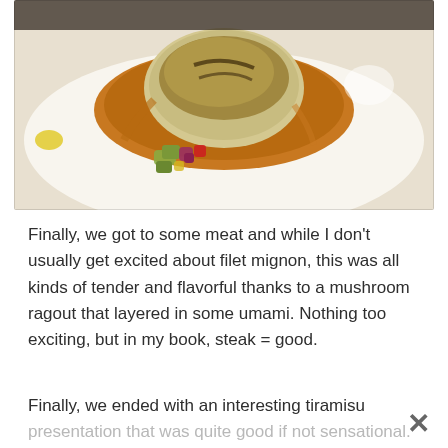[Figure (photo): A plated dish of filet mignon with mushroom ragout sauce and a colorful vegetable garnish (diced red onion, red pepper, green vegetables) on a white plate, photographed from above.]
Finally, we got to some meat and while I don't usually get excited about filet mignon, this was all kinds of tender and flavorful thanks to a mushroom ragout that layered in some umami. Nothing too exciting, but in my book, steak = good.
Finally, we ended with an interesting tiramisu presentation that was quite good if not sensational. Sadly, I don't have photos of the last two courses